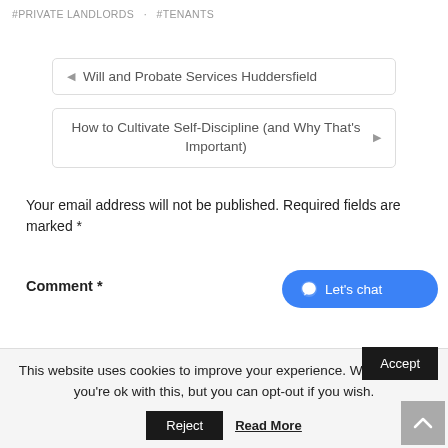#PRIVATE LANDLORDS  · #TENANTS
◄  Will and Probate Services Huddersfield
How to Cultivate Self-Discipline (and Why That's Important)  ►
Your email address will not be published. Required fields are marked *
Comment *
Let's chat
This website uses cookies to improve your experience. We'll assume you're ok with this, but you can opt-out if you wish.
Accept
Reject
Read More